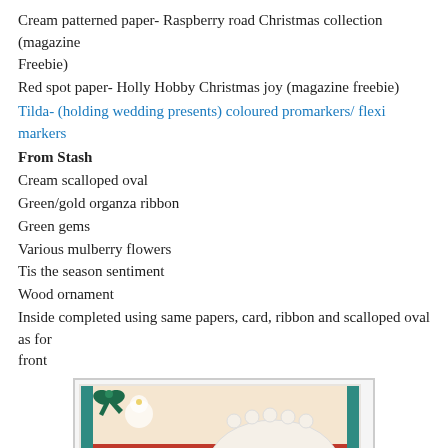Cream patterned paper- Raspberry road Christmas collection (magazine Freebie)
Red spot paper- Holly Hobby Christmas joy (magazine freebie)
Tilda- (holding wedding presents) coloured promarkers/ flexi markers
From Stash
Cream scalloped oval
Green/gold organza ribbon
Green gems
Various mulberry flowers
Tis the season sentiment
Wood ornament
Inside completed using same papers, card, ribbon and scalloped oval as for front
[Figure (photo): Christmas card interior showing patterned paper with snowman design, red polka dot paper, green ribbon bow, and a cream scalloped oval embellishment]